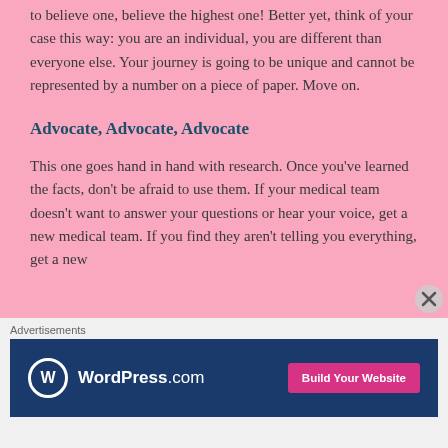to believe one, believe the highest one! Better yet, think of your case this way: you are an individual, you are different than everyone else. Your journey is going to be unique and cannot be represented by a number on a piece of paper. Move on.
Advocate, Advocate, Advocate
This one goes hand in hand with research. Once you've learned the facts, don't be afraid to use them. If your medical team doesn't want to answer your questions or hear your voice, get a new medical team. If you find they aren't telling you everything, get a new
[Figure (other): WordPress.com advertisement banner with logo and 'Build Your Website' button on dark blue background]